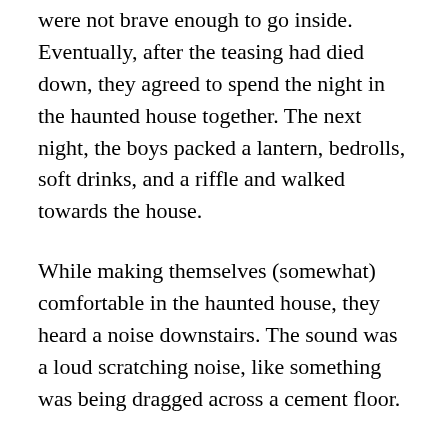were not brave enough to go inside. Eventually, after the teasing had died down, they agreed to spend the night in the haunted house together. The next night, the boys packed a lantern, bedrolls, soft drinks, and a riffle and walked towards the house.
While making themselves (somewhat) comfortable in the haunted house, they heard a noise downstairs. The sound was a loud scratching noise, like something was being dragged across a cement floor.
The teenagers headed downstairs with their rifle and lantern. They heard the noise coming from the furthest corner of the room. The boy